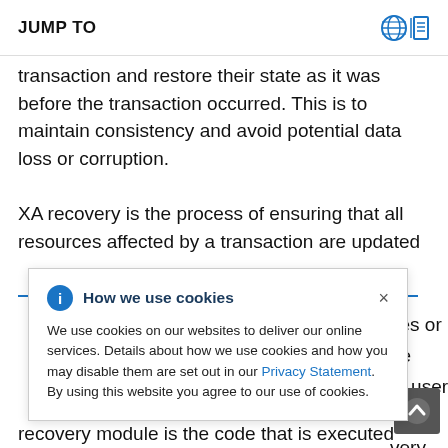JUMP TO
transaction and restore their state as it was before the transaction occurred. This is to maintain consistency and avoid potential data loss or corruption.
XA recovery is the process of ensuring that all resources affected by a transaction are updated
ces or ne ut user very n. The recovery module is the code that is executed
How we use cookies

We use cookies on our websites to deliver our online services. Details about how we use cookies and how you may disable them are set out in our Privacy Statement. By using this website you agree to our use of cookies.